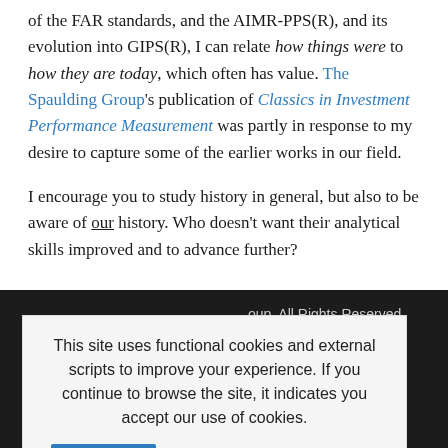of the FAR standards, and the AIMR-PPS(R), and its evolution into GIPS(R), I can relate how things were to how they are today, which often has value. The Spaulding Group's publication of Classics in Investment Performance Measurement was partly in response to my desire to capture some of the earlier works in our field.
I encourage you to study history in general, but also to be aware of our history. Who doesn't want their analytical skills improved and to advance further?
This site uses functional cookies and external scripts to improve your experience. If you continue to browse the site, it indicates you accept our use of cookies.
oup. All Rights Reserved. DMCA Policy d the Google e apply.